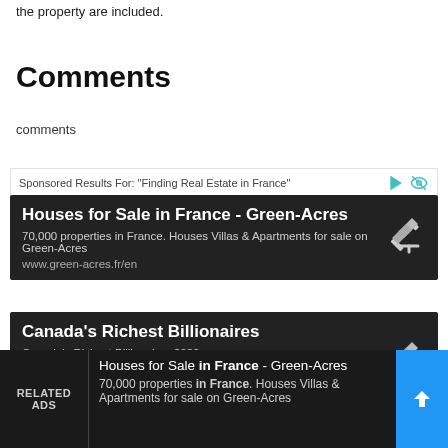the property are included.
Comments
comments
Sponsored Results For: "Finding Real Estate in France"
Houses for Sale in France - Green-Acres
70,000 properties in France. Houses Villas & Apartments for sale on Green-Acres
www.green-acres.fr/en
Canada's Richest Billionaires
Canada's Richest Billionaires 2020
RELATED ADS
Houses for Sale in France - Green-Acres
70,000 properties in France. Houses Villas & Apartments for sale on Green-Acres